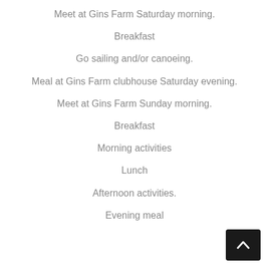Meet at Gins Farm Saturday morning.
Breakfast
Go sailing and/or canoeing.
Meal at Gins Farm clubhouse Saturday evening.
Meet at Gins Farm Sunday morning.
Breakfast
Morning activities
Lunch
Afternoon activities.
Evening meal